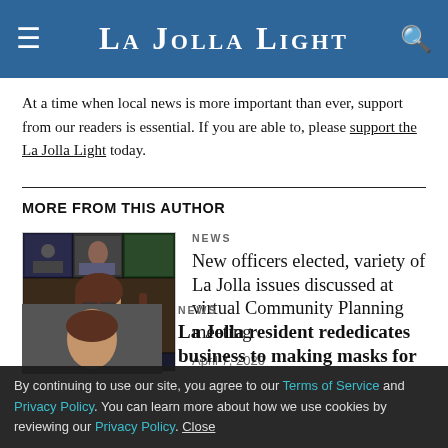La Jolla Light
At a time when local news is more important than ever, support from our readers is essential. If you are able to, please support the La Jolla Light today.
MORE FROM THIS AUTHOR
[Figure (photo): Thumbnail photo of a person in a virtual meeting/Zoom call screenshot grid]
NEWS
New officers elected, variety of La Jolla issues discussed at virtual Community Planning meeting
April 7, 2020
[Figure (screenshot): Partially visible second article with photo of a person, category NEWS, and partial headline]
La Jolla resident rededicates business to making masks for
By continuing to use our site, you agree to our Terms of Service and Privacy Policy. You can learn more about how we use cookies by reviewing our Privacy Policy. Close